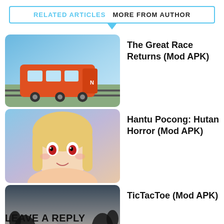RELATED ARTICLES  MORE FROM AUTHOR
The Great Race Returns (Mod APK)
[Figure (photo): Thumbnail of a train game showing an orange/red train on tracks with blue sky background]
Hantu Pocong: Hutan Horror (Mod APK)
[Figure (photo): Thumbnail of an anime-style horror game showing a blonde female character]
TicTacToe (Mod APK)
[Figure (photo): Thumbnail of a game showing a person standing facing away from camera with monsters in background]
LEAVE A REPLY